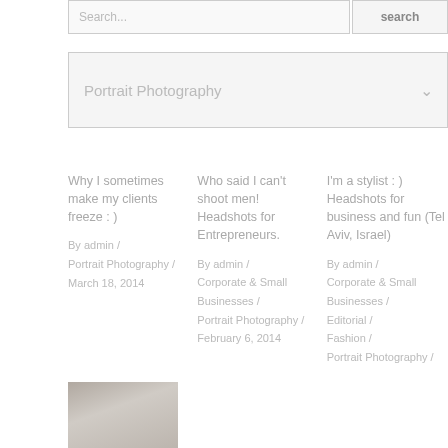Search...
search
Portrait Photography
Why I sometimes make my clients freeze : )
By admin / Portrait Photography / March 18, 2014
Who said I can't shoot men! Headshots for Entrepreneurs.
By admin / Corporate & Small Businesses / Portrait Photography / February 6, 2014
I'm a stylist : ) Headshots for business and fun (Tel Aviv, Israel)
By admin / Corporate & Small Businesses / Editorial / Fashion / Portrait Photography /
[Figure (photo): Thumbnail portrait photo of a man, grayscale/muted tones]